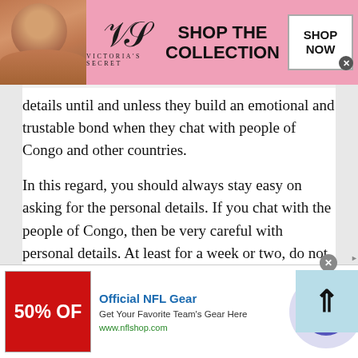[Figure (screenshot): Victoria's Secret advertisement banner showing a model, VS logo, 'SHOP THE COLLECTION' text, and 'SHOP NOW' button on a pink background]
details until and unless they build an emotional and trustable bond when they chat with people of Congo and other countries.
In this regard, you should always stay easy on asking for the personal details. If you chat with the people of Congo, then be very careful with personal details. At least for a week or two, do not bother asking for the personal details. Talk to them in a way that portrays your image as if you are not bothered by
[Figure (screenshot): Official NFL Gear advertisement showing 50% off promotion with red background, title 'Official NFL Gear', description 'Get Your Favorite Team's Gear Here', URL www.nflshop.com, and a navigation arrow button]